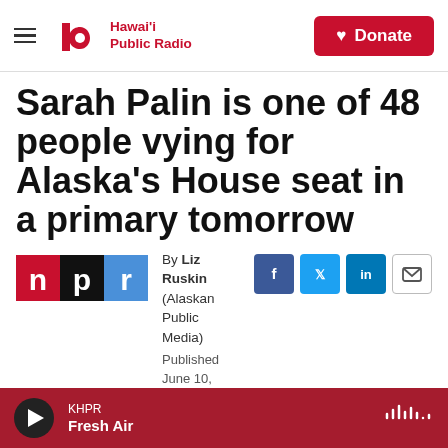Hawai'i Public Radio — Donate
Sarah Palin is one of 48 people vying for Alaska's House seat in a primary tomorrow
By Liz Ruskin (Alaskan Public Media)
Published June 10, 2022 at 10:54 AM HST
KHPR Fresh Air